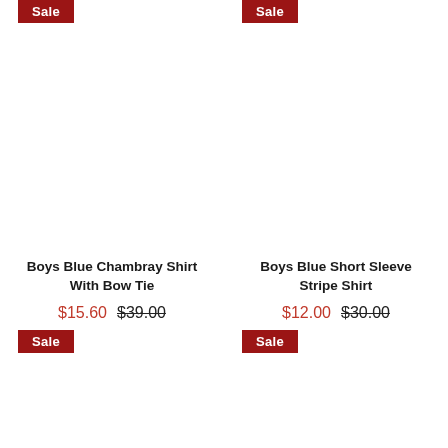[Figure (photo): Product image area for Boys Blue Chambray Shirt With Bow Tie, with Sale badge top left]
Boys Blue Chambray Shirt With Bow Tie
$15.60 $39.00
[Figure (photo): Second product image area for left column, with Sale badge]
[Figure (photo): Product image area for Boys Blue Short Sleeve Stripe Shirt, with Sale badge top left]
Boys Blue Short Sleeve Stripe Shirt
$12.00 $30.00
[Figure (photo): Second product image area for right column, with Sale badge]